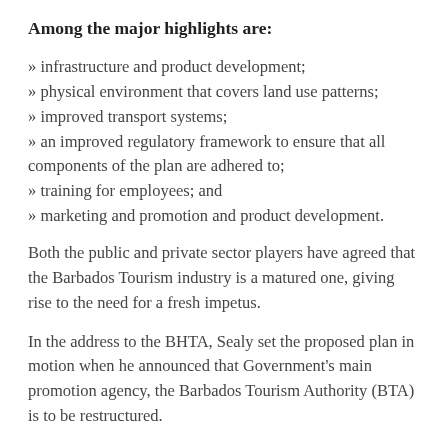Among the major highlights are:
» infrastructure and product development;
» physical environment that covers land use patterns;
» improved transport systems;
» an improved regulatory framework to ensure that all components of the plan are adhered to;
» training for employees; and
» marketing and promotion and product development.
Both the public and private sector players have agreed that the Barbados Tourism industry is a matured one, giving rise to the need for a fresh impetus.
In the address to the BHTA, Sealy set the proposed plan in motion when he announced that Government's main promotion agency, the Barbados Tourism Authority (BTA) is to be restructured.
"The cabinet of Barbados has agreed to the restructuring of the BTA, the matter is now in the Chief Parliamentary